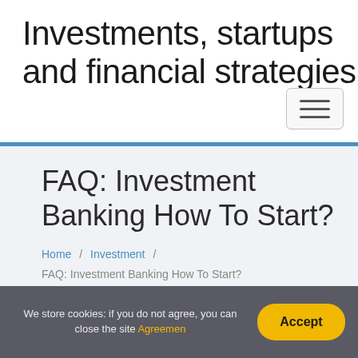Investments, startups and financial strategies
[Figure (other): Hamburger menu button (three horizontal lines) in a rounded rectangle border]
FAQ: Investment Banking How To Start?
Home / Investment / FAQ: Investment Banking How To Start?
We store cookies: if you do not agree, you can close the site Agreemen
Accept